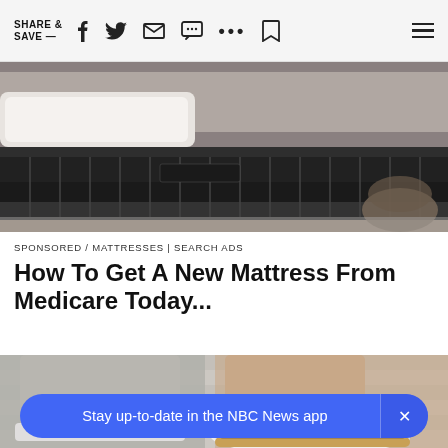SHARE & SAVE —
[Figure (photo): Close-up of a dark patterned mattress on a bed frame with white pillow and decorative items]
SPONSORED / MATTRESSES | SEARCH ADS
How To Get A New Mattress From Medicare Today...
[Figure (photo): Close-up of a person's feet wearing white sneakers with gold/brown trim details, standing on a light wood floor]
Stay up-to-date in the NBC News app